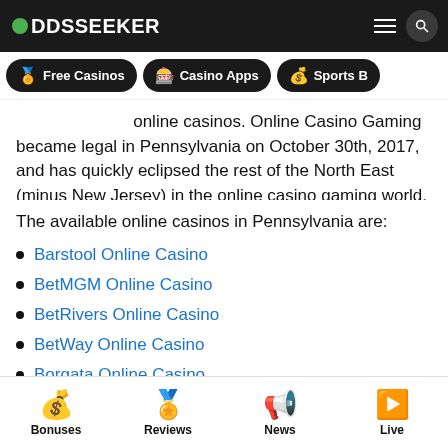ODDSSEEKER
online casinos. Online Casino Gaming became legal in Pennsylvania on October 30th, 2017, and has quickly eclipsed the rest of the North East (minus New Jersey) in the online casino gaming world.
The available online casinos in Pennsylvania are:
Barstool Online Casino
BetMGM Online Casino
BetRivers Online Casino
BetWay Online Casino
Borgata Online Casino
Bonuses | Reviews | News | Live